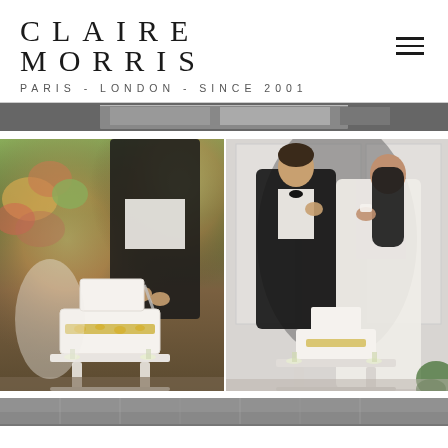CLAIRE MORRIS
PARIS - LONDON - SINCE 2001
[Figure (photo): Partial black and white wedding photo strip at top, cropped]
[Figure (photo): Two side-by-side wedding photos: left shows couple cutting a two-tier white wedding cake with gold floral decoration outdoors with colorful flowers in background; right shows couple feeding each other cake indoors against white paneled wall, groom in tuxedo and bride in white gown]
[Figure (photo): Partial photo strip at bottom, cropped]